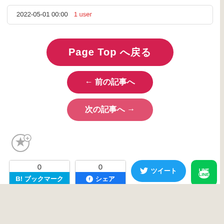2022-05-01 00:00  1 user
[Figure (other): Page Top navigation button (red pill-shaped), previous article button (red pill with left arrow), next article button (pink pill with right arrow)]
[Figure (other): Star/favorite icon with plus sign]
[Figure (other): Social share buttons: Hatena Bookmark (count 0), Facebook (count 0), Twitter, LINE]